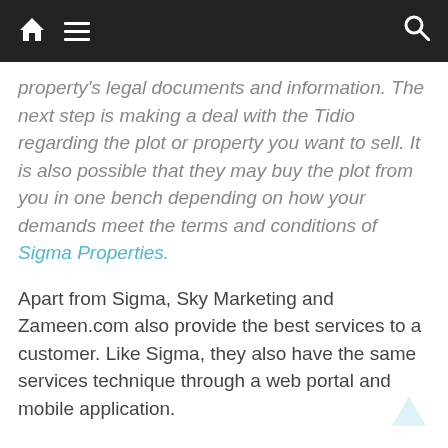Navigation bar with home icon, menu icon, and search icon
property's legal documents and information. The next step is making a deal with the Tidio regarding the plot or property you want to sell. It is also possible that they may buy the plot from you in one bench depending on how your demands meet the terms and conditions of Sigma Properties.
Apart from Sigma, Sky Marketing and Zameen.com also provide the best services to a customer. Like Sigma, they also have the same services technique through a web portal and mobile application.
Hire a personal property dealer:
You need to hire a personal property dealer to sell your property if you live in such a place where